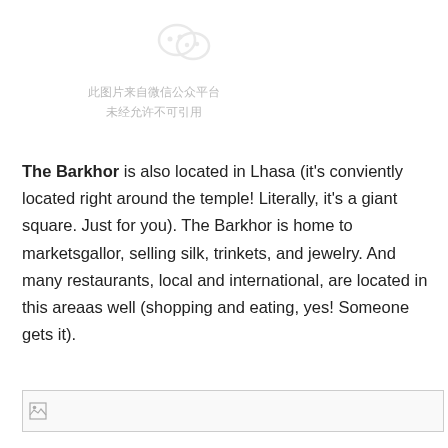[Figure (illustration): WeChat public platform watermark icon (light gray WeChat logo) with Chinese text below saying the image is from WeChat public platform and cannot be cited without permission]
The Barkhor is also located in Lhasa (it's conviently located right around the temple! Literally, it's a giant square. Just for you). The Barkhor is home to marketsgallor, selling silk, trinkets, and jewelry. And many restaurants, local and international, are located in this areaas well (shopping and eating, yes! Someone gets it).
[Figure (photo): Broken/missing image placeholder at the bottom of the page]